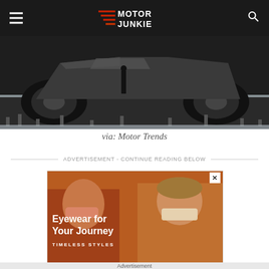Motor Junkie
[Figure (photo): Tesla Cybertruck reveal event with large angular truck on stage, audience photographing from below in a dramatic lit venue]
via: Motor Trends
ADVERTISEMENT - CONTINUE READING BELOW
[Figure (photo): Advertisement for eyewear brand showing two women wearing sunglasses with text 'Eyewear for Your Journey' and 'TIMELESS STYLES']
Advertisement